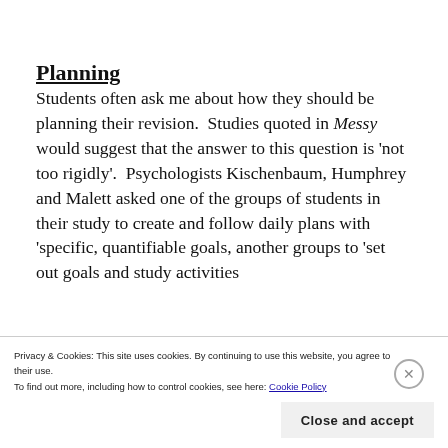Planning
Students often ask me about how they should be planning their revision.  Studies quoted in Messy would suggest that the answer to this question is 'not too rigidly'.  Psychologists Kischenbaum, Humphrey and Malett asked one of the groups of students in their study to create and follow daily plans with 'specific, quantifiable goals, another groups to 'set out goals and study activities
Privacy & Cookies: This site uses cookies. By continuing to use this website, you agree to their use.
To find out more, including how to control cookies, see here: Cookie Policy
Close and accept